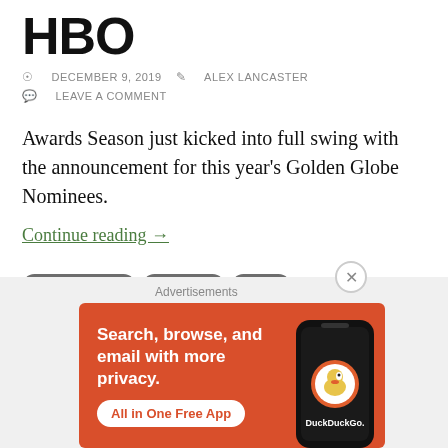HBO
DECEMBER 9, 2019  ALEX LANCASTER  LEAVE A COMMENT
Awards Season just kicked into full swing with the announcement for this year's Golden Globe Nominees.
Continue reading →
• 77TH GLOBES
• AWARDS
• FILM
• GOLDEN GLOBES
• TELEVISION
[Figure (illustration): DuckDuckGo advertisement banner: orange background with text 'Search, browse, and email with more privacy. All in One Free App' and a phone graphic with DuckDuckGo logo]